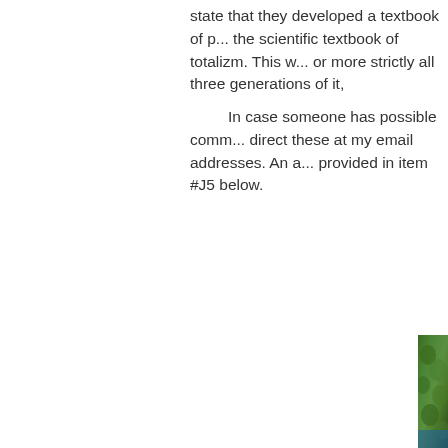state that they developed a textbook of p... the scientific textbook of totalizm. This w... or more strictly all three generations of it,...

In case someone has possible comm... direct these at my email addresses. An a... provided in item #J5 below.
[Figure (photo): Partial view of a person outdoors against a green leafy background, partially cropped at the right edge of the page.]